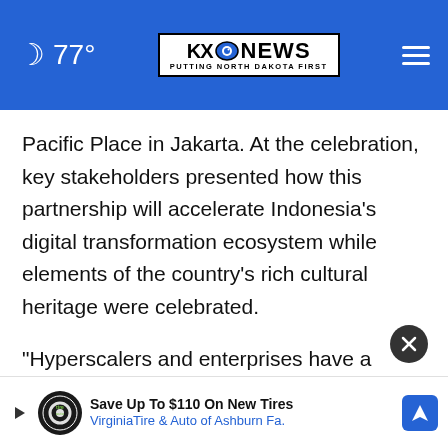🌙 77° | KXO NEWS — PUTTING NORTH DAKOTA FIRST | ☰
Pacific Place in Jakarta. At the celebration, key stakeholders presented how this partnership will accelerate Indonesia's digital transformation ecosystem while elements of the country's rich cultural heritage were celebrated.
"Hyperscalers and enterprises have a critical need for best-in-class global data centers and robust connectivity in Indonesia, and BI... Indor...
[Figure (screenshot): Advertisement banner: Save Up To $110 On New Tires — VirginiaTire & Auto of Ashburn Fa. with tire logo and navigation icon]